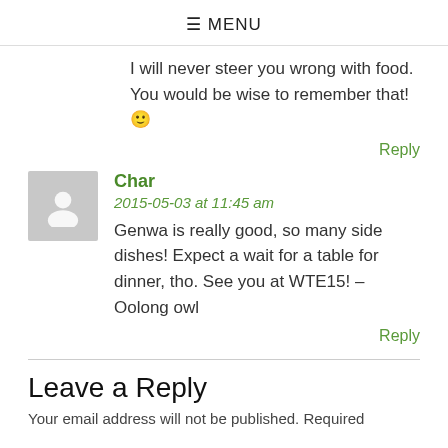≡ MENU
I will never steer you wrong with food. You would be wise to remember that! 🙂
Reply
Char
2015-05-03 at 11:45 am
Genwa is really good, so many side dishes! Expect a wait for a table for dinner, tho. See you at WTE15! – Oolong owl
Reply
Leave a Reply
Your email address will not be published. Required